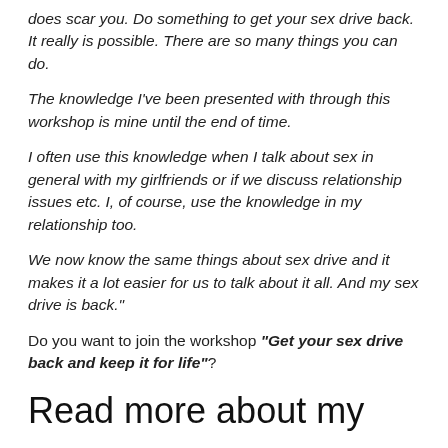does scar you. Do something to get your sex drive back. It really is possible. There are so many things you can do.
The knowledge I've been presented with through this workshop is mine until the end of time.
I often use this knowledge when I talk about sex in general with my girlfriends or if we discuss relationship issues etc. I, of course, use the knowledge in my relationship too.
We now know the same things about sex drive and it makes it a lot easier for us to talk about it all. And my sex drive is back."
Do you want to join the workshop "Get your sex drive back and keep it for life"?
Read more about my